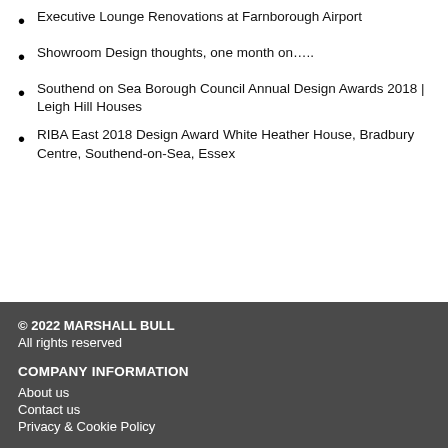Executive Lounge Renovations at Farnborough Airport
Showroom Design thoughts, one month on…..
Southend on Sea Borough Council Annual Design Awards 2018 | Leigh Hill Houses
RIBA East 2018 Design Award White Heather House, Bradbury Centre, Southend-on-Sea, Essex
© 2022 MARSHALL BULL
All rights reserved

COMPANY INFORMATION
About us
Contact us
Privacy & Cookie Policy